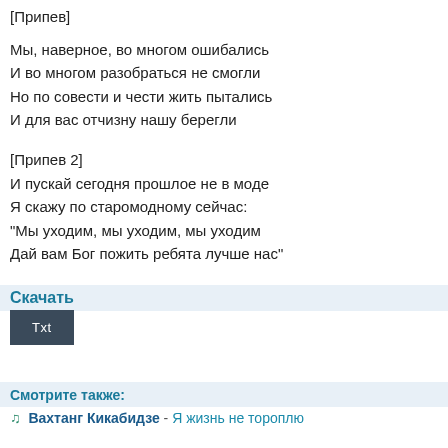[Припев]
Мы, наверное, во многом ошибались
И во многом разобраться не смогли
Но по совести и чести жить пытались
И для вас отчизну нашу берегли
[Припев 2]
И пускай сегодня прошлое не в моде
Я скажу по старомодному сейчас:
"Мы уходим, мы уходим, мы уходим
Дай вам Бог пожить ребята лучше нас"
Скачать
[Figure (other): Download button labeled Txt]
Смотрите также:
Вахтанг Кикабидзе - Я жизнь не тороплю